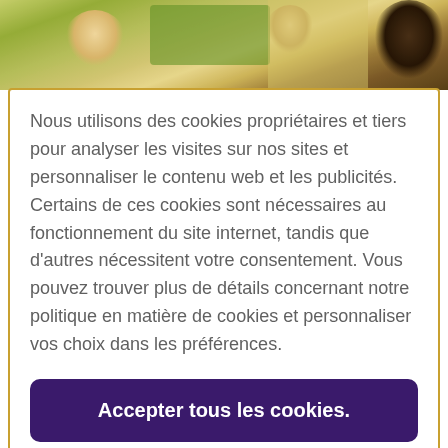[Figure (photo): Photograph of young children in a classroom setting, partially visible at the top of the page.]
Nous utilisons des cookies propriétaires et tiers pour analyser les visites sur nos sites et personnaliser le contenu web et les publicités. Certains de ces cookies sont nécessaires au fonctionnement du site internet, tandis que d'autres nécessitent votre consentement. Vous pouvez trouver plus de détails concernant notre politique en matière de cookies et personnaliser vos choix dans les préférences.
Accepter tous les cookies.
Paramètres des cookies